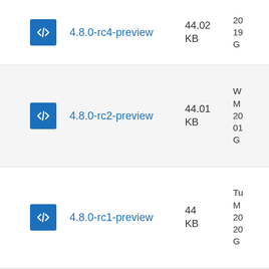4.8.0-rc4-preview  44.02 KB
4.8.0-rc2-preview  44.01 KB
4.8.0-rc1-preview  44 KB
4.8.0-RC0-Preview  44.01